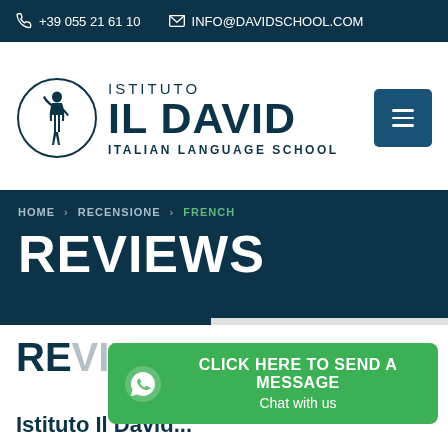+39 055 21 61 10  INFO@DAVIDSCHOOL.COM
[Figure (logo): Istituto Il David - Italian Language School logo with circular emblem of the David statue]
REVIEWS
HOME  RECENSIONE  FRENCH
[Figure (infographic): Green WhatsApp banner: CLICK HERE TO SEND A MESSAGE / Chat with us]
REVIEWS - Istituto Il David